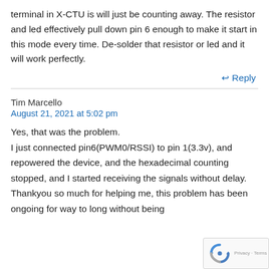terminal in X-CTU is will just be counting away. The resistor and led effectively pull down pin 6 enough to make it start in this mode every time. De-solder that resistor or led and it will work perfectly.
↩ Reply
Tim Marcello
August 21, 2021 at 5:02 pm
Yes, that was the problem.
I just connected pin6(PWM0/RSSI) to pin 1(3.3v), and repowered the device, and the hexadecimal counting stopped, and I started receiving the signals without delay.
Thankyou so much for helping me, this problem has been ongoing for way to long without being